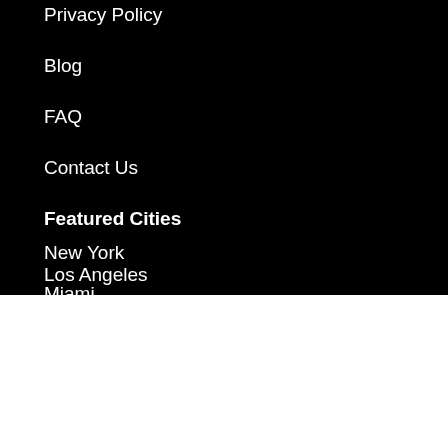Privacy Policy
Blog
FAQ
Contact Us
Featured Cities
New York
Los Angeles
Miami (partially visible)
To improve your experience this website uses cookies in according with a privacy policy.
Accept
Learn more and customize